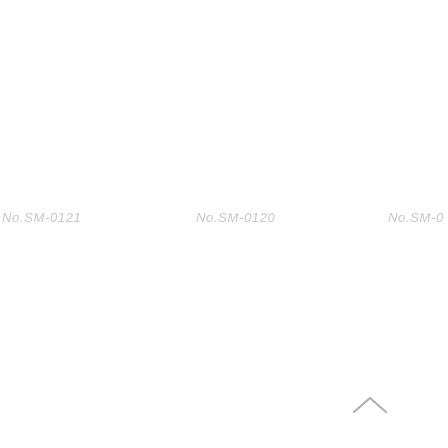No.SM-0121
No.SM-0120
No.SM-0
[Figure (other): Upward pointing chevron/arrow symbol in light gray]